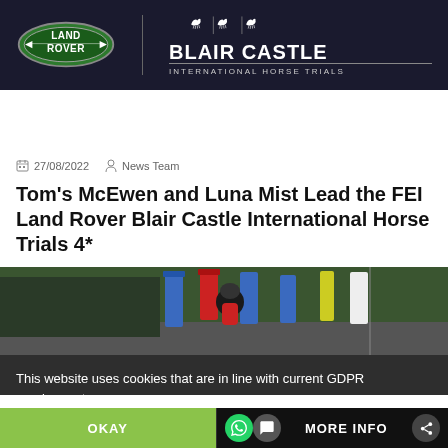[Figure (logo): Land Rover and Blair Castle International Horse Trials header banner with dark background, Land Rover green oval logo on left, horse silhouette icons and Blair Castle International Horse Trials text on right]
27/08/2022  News Team
Tom's McEwen and Luna Mist Lead the FEI Land Rover Blair Castle International Horse Trials 4*
[Figure (photo): Equestrian rider on horseback at Blair Castle International Horse Trials, coloured sponsor banners in background, green trees]
This website uses cookies that are in line with current GDPR requirements
OKAY    MORE INFO